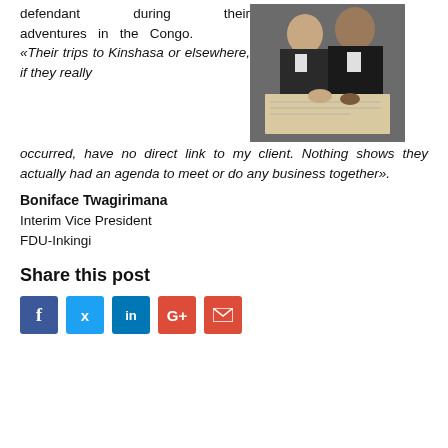defendant during their adventures in the Congo. «Their trips to Kinshasa or elsewhere, if they really occurred, have no direct link to my client. Nothing shows they actually had an agenda to meet or do any business together».
[Figure (photo): Photo of lawyers or legal professionals in robes looking at documents]
Boniface Twagirimana
Interim Vice President
FDU-Inkingi
Share this post